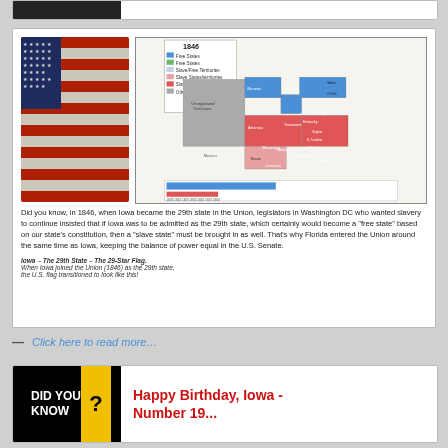[Figure (photo): Partially visible card at top of page]
[Figure (photo): American flag photo on left side showing stars and stripes]
[Figure (map): 1846 US map showing free states and slave states, with Iowa highlighted. Legend shows different categories of states. A timeline bar at bottom shows state counts over years.]
Did you know, in 1846, when Iowa became the 29th state in the Union, legislators in Washington DC who wanted slavery to continue insisted that if Iowa was to be admitted as the 29th state, which certainly would become a "free state" based on our state's constitution, then a "slave state" must be brought in as well. That's why Florida entered the Union around the same time as Iowa, keeping the balance of power equal in the U.S. Senate.
Iowa – The 29th State – The 29-Star Flag.
When Iowa joined the Union (1846) as the 29th state,
the U.S. flag transitioned to look like this!
— Click here to read more…
[Figure (logo): Did You Know logo — black background with yellow question mark block]
Happy Birthday, Iowa - Number 19...